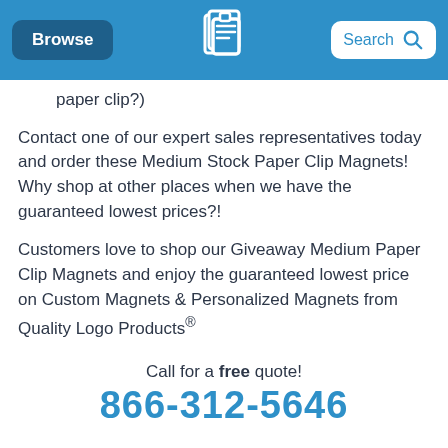[Figure (screenshot): Website header bar with Browse button, Quality Logo Products logo, and Search box on a blue background]
paper clip?)
Contact one of our expert sales representatives today and order these Medium Stock Paper Clip Magnets! Why shop at other places when we have the guaranteed lowest prices?!
Customers love to shop our Giveaway Medium Paper Clip Magnets and enjoy the guaranteed lowest price on Custom Magnets & Personalized Magnets from Quality Logo Products®
Call for a free quote!
866-312-5646